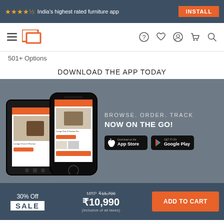★★★★½ India's highest rated furniture app  INSTALL
[Figure (screenshot): Navigation bar with hamburger menu, logo, and icons for help, wishlist, account, cart, and search]
501+ Options
DOWNLOAD THE APP TODAY
[Figure (infographic): App promotional banner showing two smartphones with furniture app screens, text 'BROWSE. ORDER. TRACK NOW ON THE GO!' and App Store and Google Play download buttons]
30% Off SALE  MRP ₹15,700 ₹10,990 (inclusive of all taxes)  ADD TO CART